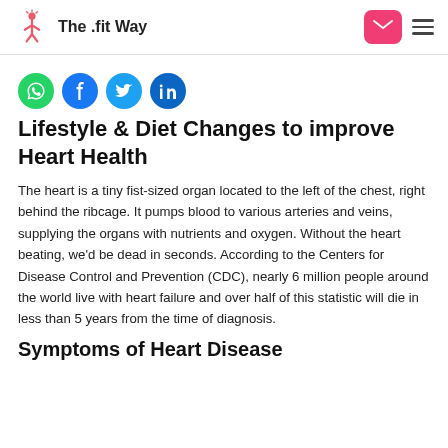The .fit Way
[Figure (logo): Social share icons: WhatsApp, Facebook, Twitter, LinkedIn]
Lifestyle & Diet Changes to improve Heart Health
The heart is a tiny fist-sized organ located to the left of the chest, right behind the ribcage. It pumps blood to various arteries and veins, supplying the organs with nutrients and oxygen. Without the heart beating, we'd be dead in seconds. According to the Centers for Disease Control and Prevention (CDC), nearly 6 million people around the world live with heart failure and over half of this statistic will die in less than 5 years from the time of diagnosis.
Symptoms of Heart Disease